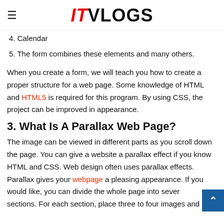ITvlogs
4. Calendar
5. The form combines these elements and many others.
When you create a form, we will teach you how to create a proper structure for a web page. Some knowledge of HTML and HTML5 is required for this program. By using CSS, the project can be improved in appearance.
3. What Is A Parallax Web Page?
The image can be viewed in different parts as you scroll down the page. You can give a website a parallax effect if you know HTML and CSS. Web design often uses parallax effects. Parallax gives your webpage a pleasing appearance. If you would like, you can divide the whole page into several sections. For each section, place three to four images and